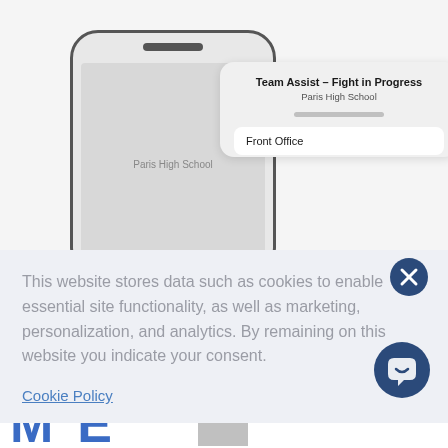[Figure (screenshot): Screenshot of a mobile app notification card showing 'Team Assist - Fight in Progress' from Paris High School with a 'Front Office' option, overlaid by a cookie consent banner with a close button, and a partially visible decorative title at the bottom.]
This website stores data such as cookies to enable essential site functionality, as well as marketing, personalization, and analytics. By remaining on this website you indicate your consent.
Cookie Policy